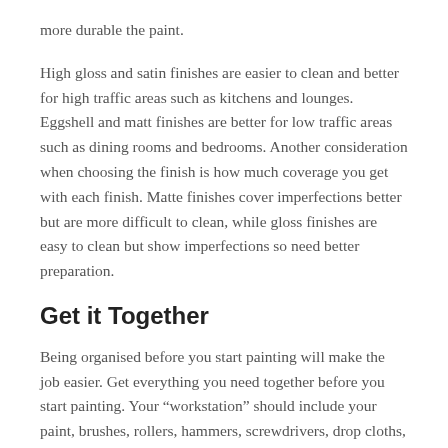more durable the paint.
High gloss and satin finishes are easier to clean and better for high traffic areas such as kitchens and lounges. Eggshell and matt finishes are better for low traffic areas such as dining rooms and bedrooms. Another consideration when choosing the finish is how much coverage you get with each finish. Matte finishes cover imperfections better but are more difficult to clean, while gloss finishes are easy to clean but show imperfections so need better preparation.
Get it Together
Being organised before you start painting will make the job easier. Get everything you need together before you start painting. Your “workstation” should include your paint, brushes, rollers, hammers, screwdrivers, drop cloths, plastic bags, masking tape and rags.